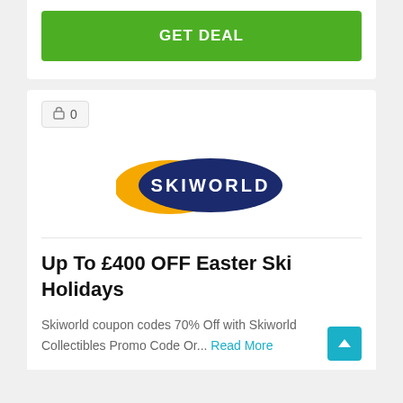[Figure (other): Green GET DEAL button]
[Figure (logo): Skiworld logo — dark blue oval with yellow swoosh accent and white SKIWORLD text]
Up To £400 OFF Easter Ski Holidays
Skiworld coupon codes 70% Off with Skiworld Collectibles Promo Code Or... Read More